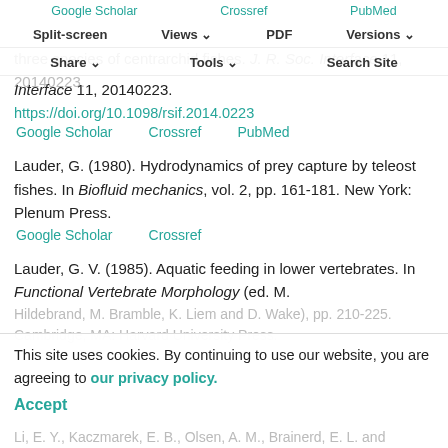Google Scholar   Crossref   PubMed
Split-screen   Views   PDF   Versions
Kane, E. A. and Higham, T. E. (2014). Modelled three-dimensional suction accuracy predicts prey capture success in three species of centrarchid fishes. J. R. Soc. Interface 11, 20140223.
https://doi.org/10.1098/rsif.2014.0223
Google Scholar   Crossref   PubMed
Lauder, G. (1980). Hydrodynamics of prey capture by teleost fishes. In Biofluid mechanics, vol. 2, pp. 161-181. New York: Plenum Press.
Google Scholar   Crossref
Lauder, G. V. (1985). Aquatic feeding in lower vertebrates. In Functional Vertebrate Morphology (ed. M. Hildebrand, M. Bramble, K. Liem and D. Wake), pp. 210-225. Cambridge, MA: Harvard University Press.
This site uses cookies. By continuing to use our website, you are agreeing to our privacy policy.
Accept
Li, E. Y., Kaczmarek, E. B., Olsen, A. M., Brainerd, E. L. and